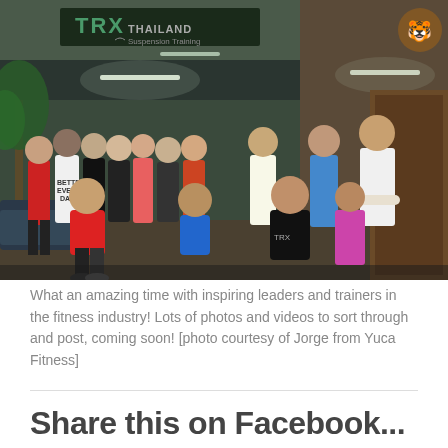[Figure (photo): Group photo of fitness trainers and leaders posing in front of a TRX Thailand gym/facility. Multiple people standing and kneeling in athletic wear. A TRX Thailand sign is visible above the entrance.]
What an amazing time with inspiring leaders and trainers in the fitness industry! Lots of photos and videos to sort through and post, coming soon! [photo courtesy of Jorge from Yuca Fitness]
Share this on Facebook...